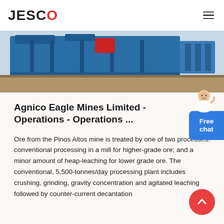JESCO
[Figure (photo): Photo of blue industrial mining/crushing machine equipment in a facility]
Agnico Eagle Mines Limited - Operations - Operations ...
Ore from the Pinos Altos mine is treated by one of two processes: conventional processing in a mill for higher-grade ore; and a minor amount of heap-leaching for lower grade ore. The conventional, 5,500-tonnes/day processing plant includes crushing, grinding, gravity concentration and agitated leaching followed by counter-current decantation...